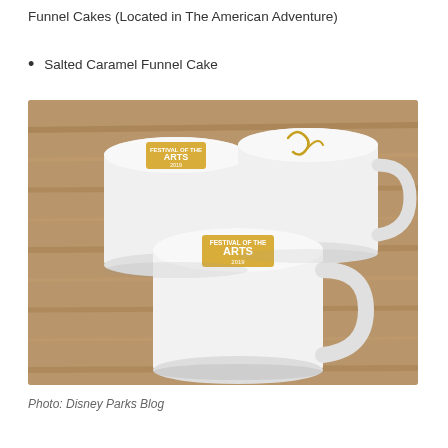Funnel Cakes (Located in The American Adventure)
Salted Caramel Funnel Cake
[Figure (photo): Three white ceramic mugs with foam tops on a wooden surface. Two mugs have a gold Festival of the Arts 2019 logo stamped in the foam, and one has a cursive design in the foam.]
Photo: Disney Parks Blog